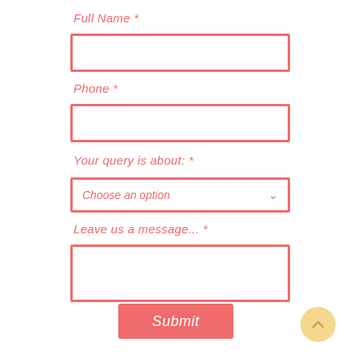Full Name *
[Figure (other): Text input field for Full Name]
Phone *
[Figure (other): Text input field for Phone]
Your query is about: *
[Figure (other): Dropdown select field with placeholder 'Choose an option']
Leave us a message... *
[Figure (other): Textarea input field for message]
[Figure (other): Submit button (coral/red background, white italic text)]
[Figure (other): Back to top circular button (yellow/gold background with up chevron)]